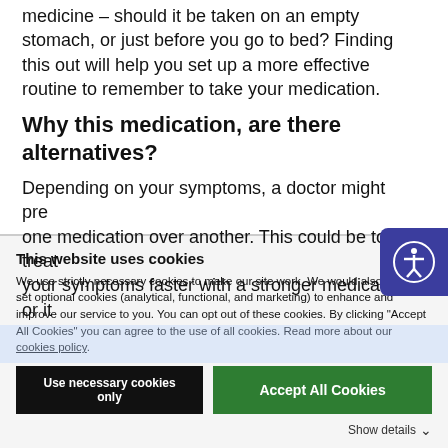medicine – should it be taken on an empty stomach, or just before you go to bed? Finding this out will help you set up a more effective routine to remember to take your medication.
Why this medication, are there alternatives?
Depending on your symptoms, a doctor might prescribe one medication over another. This could be to treat your symptoms faster with a stronger medication, or it
This website uses cookies
We use strictly necessary cookies to make our site work. We would also like to set optional cookies (analytical, functional, and marketing) to enhance and improve our service to you. You can opt out of these cookies. By clicking "Accept All Cookies" you can agree to the use of all cookies. Read more about our cookies policy.